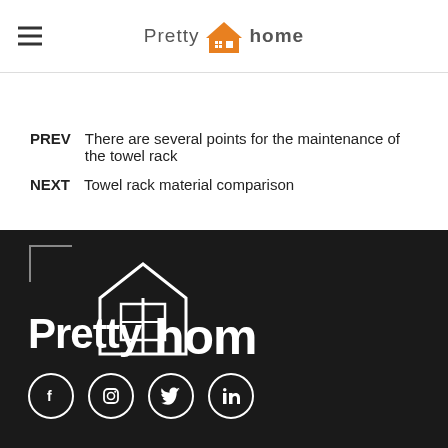Pretty home
PREV  There are several points for the maintenance of the towel rack
NEXT  Towel rack material comparison
[Figure (logo): Pretty home white logo on dark background with house icon]
[Figure (infographic): Social media icons: Facebook, Instagram, Twitter, LinkedIn in white circles on dark background]